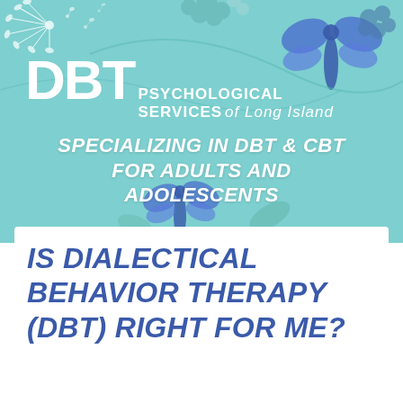[Figure (illustration): Teal background with decorative dandelion seeds (white) top-left, floral/clover shapes top-center and top-right, and blue dragonfly/butterfly silhouettes top-right and bottom-center, with a large white DBT logo and subtitle 'PSYCHOLOGICAL SERVICES of Long Island']
DBT PSYCHOLOGICAL SERVICES of Long Island
SPECIALIZING IN DBT & CBT FOR ADULTS AND ADOLESCENTS
IS DIALECTICAL BEHAVIOR THERAPY (DBT) RIGHT FOR ME?